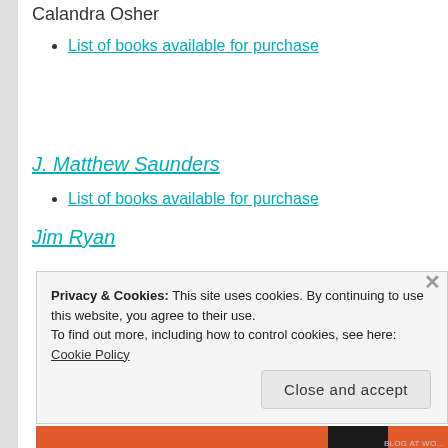Calandra Osher
List of books available for purchase
J. Matthew Saunders
List of books available for purchase
Jim Ryan
Privacy & Cookies: This site uses cookies. By continuing to use this website, you agree to their use. To find out more, including how to control cookies, see here: Cookie Policy
Close and accept